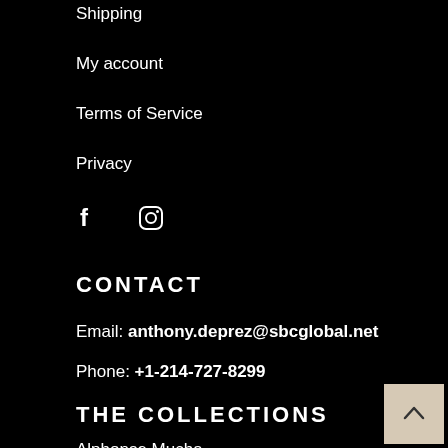Shipping
My account
Terms of Service
Privacy
[Figure (illustration): Facebook and Instagram social media icons]
CONTACT
Email: anthony.deprez@sbcglobal.net
Phone: +1-214-727-8299
THE COLLECTIONS
Alphonse Mucha
Asian Art